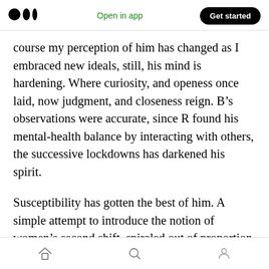Medium logo | Open in app | Get started
course my perception of him has changed as I embraced new ideals, still, his mind is hardening. Where curiosity, and openess once laid, now judgment, and closeness reign. B’s observations were accurate, since R found his mental-health balance by interacting with others, the successive lockdowns has darkened his spirit.
Susceptibility has gotten the best of him. A simple attempt to introduce the notion of women’s second shift, spiraled out of proportion as he interpreted it as criticism of his quality as a husband rather than an invitation to be more
Home | Search | Profile